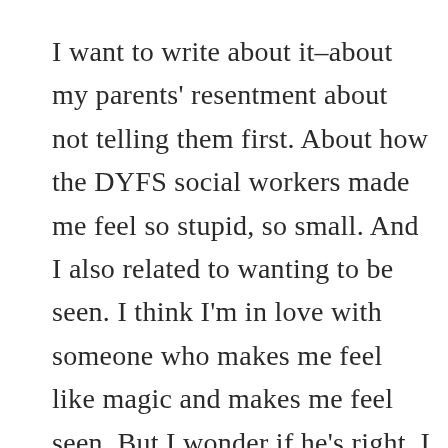I want to write about it–about my parents' resentment about not telling them first. About how the DYFS social workers made me feel so stupid, so small. And I also related to wanting to be seen. I think I'm in love with someone who makes me feel like magic and makes me feel seen. But I wonder if he's right. I don't know. But I just really relate to this